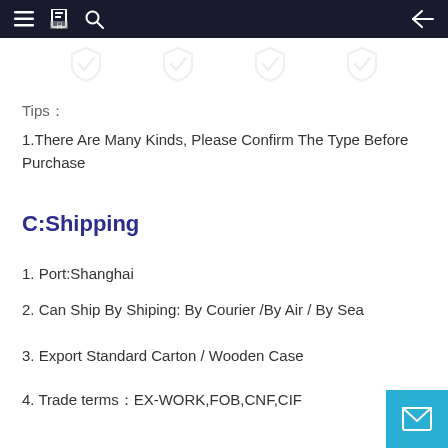Navigation bar with menu, book, search icons and back arrow
Tips：
1.There Are Many Kinds, Please Confirm The Type Before Purchase
C:Shipping
1. Port:Shanghai
2. Can Ship By Shiping: By Courier /By Air / By Sea
3. Export Standard Carton / Wooden Case
4. Trade terms：EX-WORK,FOB,CNF,CIF